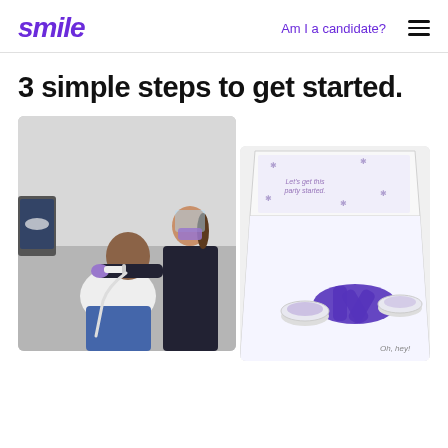smile | Am I a candidate?
3 simple steps to get started.
[Figure (photo): A dental professional wearing a face shield and mask scanning a seated male patient's teeth with an intraoral scanner in a clinic setting with a dental monitor visible.]
[Figure (photo): An open white box containing a dental impression kit with purple trays and impression materials, with text reading 'Oh, hey!' on the inside.]